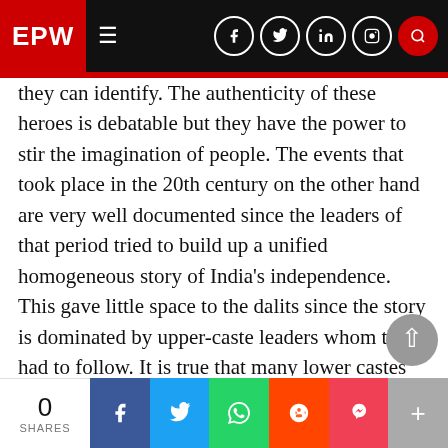EPW
they can identify. The authenticity of these heroes is debatable but they have the power to stir the imagination of people. The events that took place in the 20th century on the other hand are very well documented since the leaders of that period tried to build up a unified homogeneous story of India's independence. This gave little space to the dalits since the story is dominated by upper-caste leaders whom they had to follow. It is true that many lower castes lost their lives in the non-cooperation, Quit India and other such movements but the glory went to the upper-caste leaders had organised them.